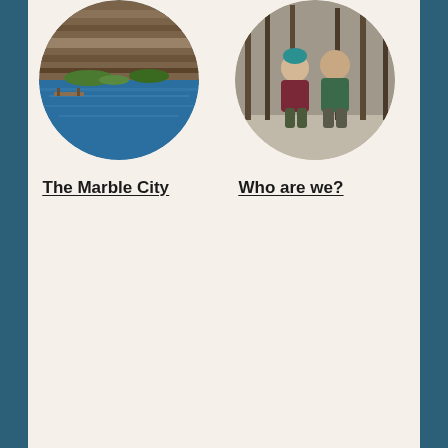[Figure (photo): Circular photo of a blue lake/quarry with rocky cliffs in the background and a dock visible on the left.]
The Marble City
[Figure (photo): Circular photo of two people sitting outdoors in a wooded area in winter clothing.]
Who are we?